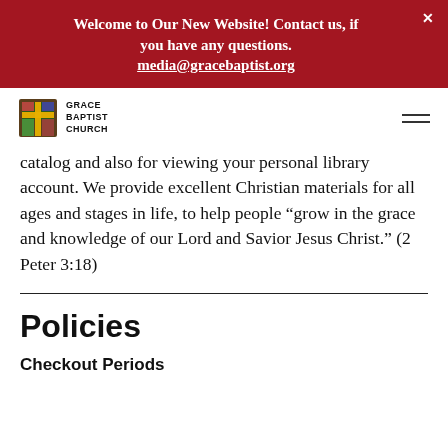Welcome to Our New Website! Contact us, if you have any questions. media@gracebaptist.org
[Figure (logo): Grace Baptist Church logo with stained glass cross icon and text GRACE BAPTIST CHURCH]
catalog and also for viewing your personal library account. We provide excellent Christian materials for all ages and stages in life, to help people “grow in the grace and knowledge of our Lord and Savior Jesus Christ.” (2 Peter 3:18)
Policies
Checkout Periods